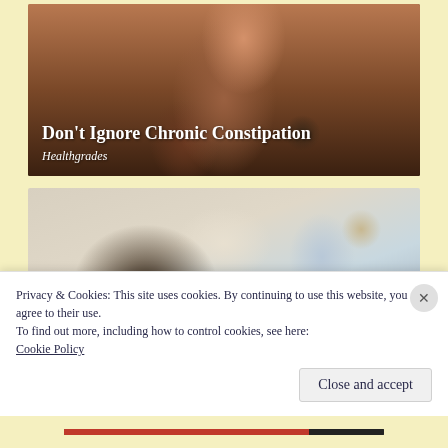[Figure (photo): Person holding their lower back in pain, wearing an orange shirt, in a gym or locker room environment]
Don't Ignore Chronic Constipation
Healthgrades
[Figure (photo): Person with dark hair bending forward, wearing a white tank top, with a blurred background showing medical or clinical setting]
Privacy & Cookies: This site uses cookies. By continuing to use this website, you agree to their use.
To find out more, including how to control cookies, see here: Cookie Policy
Close and accept